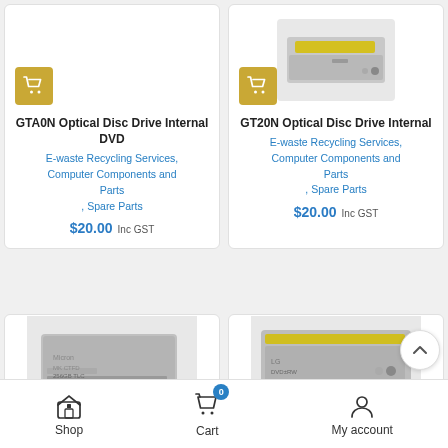[Figure (screenshot): E-commerce product listing page showing optical disc drives and computer parts with cart buttons, prices, category tags, and bottom navigation bar with Shop, Cart (badge 0), and My account icons.]